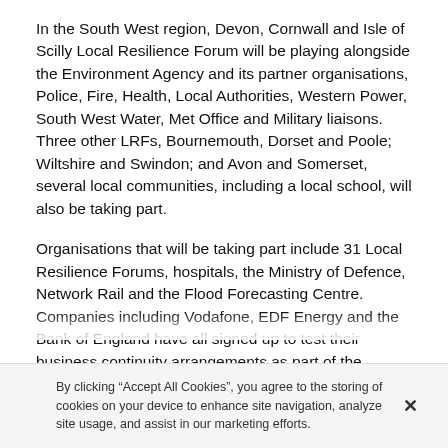In the South West region, Devon, Cornwall and Isle of Scilly Local Resilience Forum will be playing alongside the Environment Agency and its partner organisations, Police, Fire, Health, Local Authorities, Western Power, South West Water, Met Office and Military liaisons. Three other LRFs, Bournemouth, Dorset and Poole; Wiltshire and Swindon; and Avon and Somerset, several local communities, including a local school, will also be taking part.
Organisations that will be taking part include 31 Local Resilience Forums, hospitals, the Ministry of Defence, Network Rail and the Flood Forecasting Centre. Companies including Vodafone, EDF Energy and the Bank of England have all signed up to test their business continuity arrangements as part of the
By clicking “Accept All Cookies”, you agree to the storing of cookies on your device to enhance site navigation, analyze site usage, and assist in our marketing efforts.